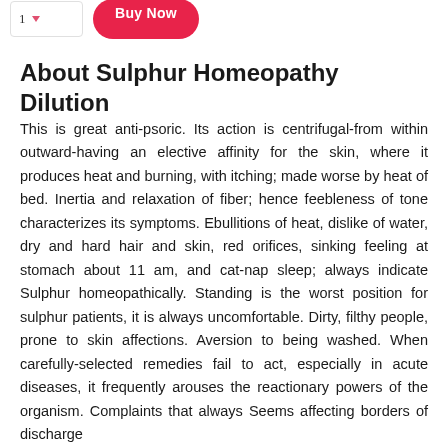[Figure (other): Top navigation bar with quantity selector dropdown and pink 'Buy Now' button]
About Sulphur Homeopathy Dilution
This is great anti-psoric. Its action is centrifugal-from within outward-having an elective affinity for the skin, where it produces heat and burning, with itching; made worse by heat of bed. Inertia and relaxation of fiber; hence feebleness of tone characterizes its symptoms. Ebullitions of heat, dislike of water, dry and hard hair and skin, red orifices, sinking feeling at stomach about 11 am, and cat-nap sleep; always indicate Sulphur homeopathically. Standing is the worst position for sulphur patients, it is always uncomfortable. Dirty, filthy people, prone to skin affections. Aversion to being washed. When carefully-selected remedies fail to act, especially in acute diseases, it frequently arouses the reactionary powers of the organism. Complaints that always Seems affecting borders of discharge